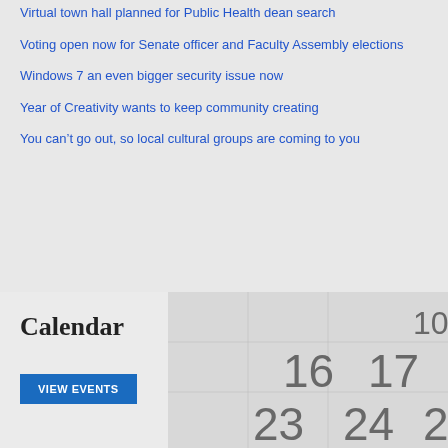Virtual town hall planned for Public Health dean search
Voting open now for Senate officer and Faculty Assembly elections
Windows 7 an even bigger security issue now
Year of Creativity wants to keep community creating
You can’t go out, so local cultural groups are coming to you
Calendar
[Figure (photo): Close-up photo of a calendar showing numbers 10, 16, 17, 23, 24, 25]